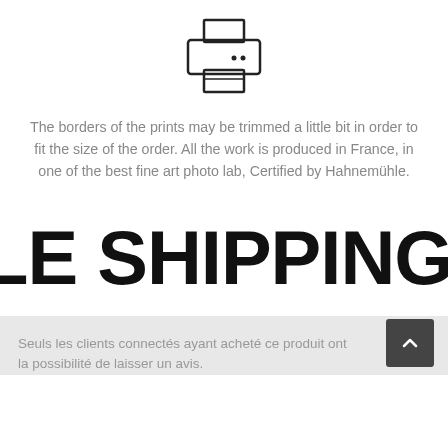[Figure (illustration): A simple line-art icon of a printer/printing device]
The borders of the prints may be trimmed a little bit in order to fit the size of the order. All the work is produced in France, in one of the best fine art photo lab, Certified by Hahnemühle.
LE SHIPPING WORLDWIDE
Seuls les clients connectés ayant acheté ce produit ont la possibilité de laisser un avis.